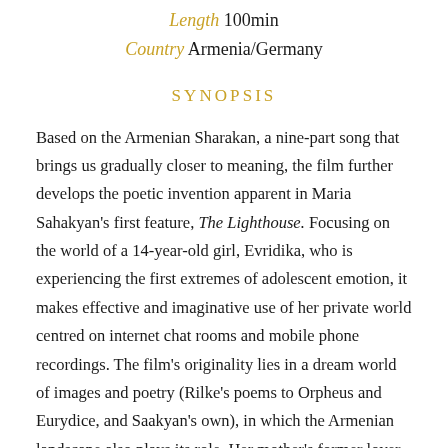Length 100min
Country Armenia/Germany
SYNOPSIS
Based on the Armenian Sharakan, a nine-part song that brings us gradually closer to meaning, the film further develops the poetic invention apparent in Maria Sahakyan's first feature, The Lighthouse. Focusing on the world of a 14-year-old girl, Evridika, who is experiencing the first extremes of adolescent emotion, it makes effective and imaginative use of her private world centred on internet chat rooms and mobile phone recordings. The film's originality lies in a dream world of images and poetry (Rilke's poems to Orpheus and Eurydice, and Saakyan's own), in which the Armenian landscape also plays its role. Her mother's former lover returns, giving